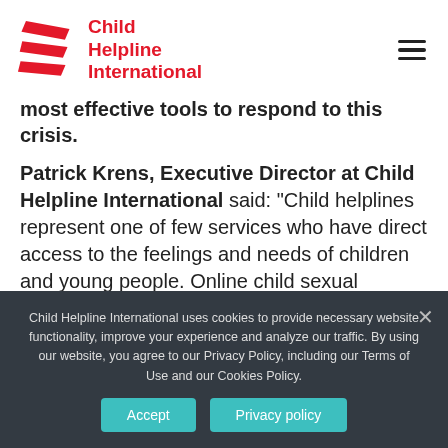[Figure (logo): Child Helpline International logo with red chevron/stripe icon and red bold text reading Child Helpline International]
most effective tools to respond to this crisis.
Patrick Krens, Executive Director at Child Helpline International said: “Child helplines represent one of few services who have direct access to the feelings and needs of children and young people. Online child sexual exploitation and abuse demands a
Child Helpline International uses cookies to provide necessary website functionality, improve your experience and analyze our traffic. By using our website, you agree to our Privacy Policy, including our Terms of Use and our Cookies Policy.